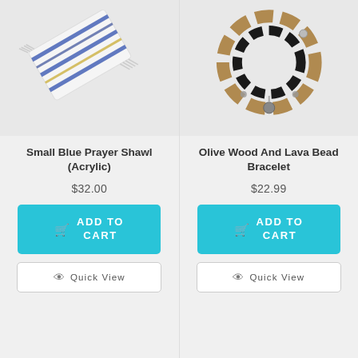[Figure (photo): Small Blue Prayer Shawl (Acrylic) product image - white folded shawl with blue and gold stripes]
Small Blue Prayer Shawl (Acrylic)
$32.00
[Figure (photo): Olive Wood And Lava Bead Bracelet product image - bracelet with wooden and black lava beads with cross charm]
Olive Wood And Lava Bead Bracelet
$22.99